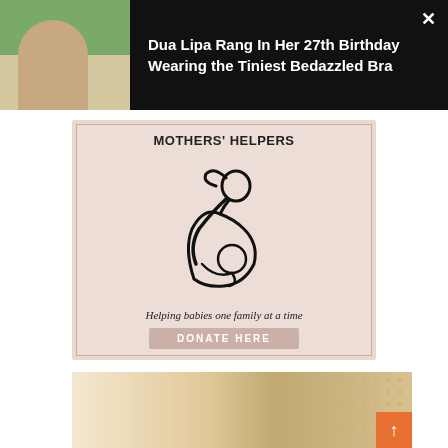[Figure (photo): Dark banner with photo of a woman sitting outdoors in white outfit with platform shoes on grass, and headline text 'Dua Lipa Rang In Her 27th Birthday Wearing the Tiniest Bedazzled Bra', with a close (X) button]
[Figure (logo): Mothers' Helpers advertisement. Pink/rose background with illustrated line-art of a mother holding a baby. Text: 'MOTHERS' HELPERS', tagline 'Helping babies one family at a time', and a 'DONATE HERE' button.]
[Figure (photo): Bottom partial image showing an interior with wood tones and a dot pattern on the right, with an orange scroll-to-top button.]